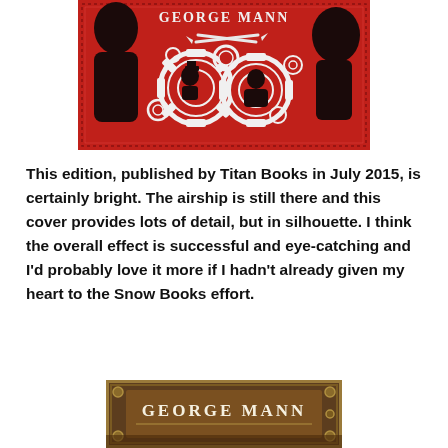[Figure (illustration): Red steampunk book cover for George Mann, featuring silhouettes of two figures inside gear/cog shapes, with daggers and decorative elements on a red background with dotted border]
This edition, published by Titan Books in July 2015, is certainly bright. The airship is still there and this cover provides lots of detail, but in silhouette. I think the overall effect is successful and eye-catching and I’d probably love it more if I hadn’t already given my heart to the Snow Books effort.
[Figure (illustration): Brown/gold steampunk book cover for George Mann, partially visible at bottom of page]